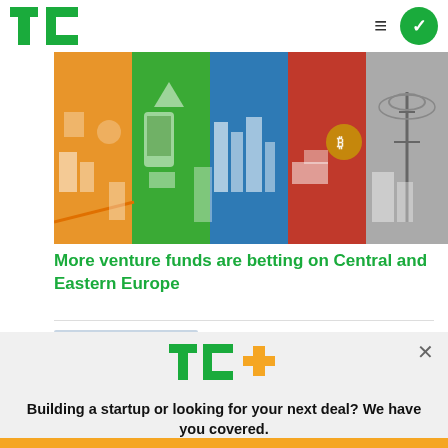TC
[Figure (illustration): Colorful illustrated banner showing multiple city/industry panels: orange (sports/transportation), green (mobile/tech), blue (urban buildings), red (trucks/crypto), grey (telecom towers) representing Central and Eastern Europe venture sectors]
More venture funds are betting on Central and Eastern Europe
[Figure (logo): TechCrunch Plus (TC+) logo in green with orange plus sign]
Building a startup or looking for your next deal? We have you covered.
EXPLORE NOW